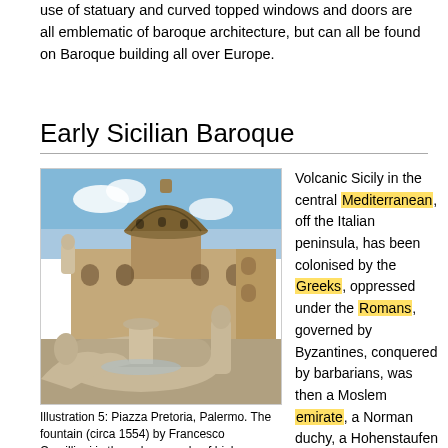use of statuary and curved topped windows and doors are all emblematic of baroque architecture, but can all be found on Baroque building all over Europe.
Early Sicilian Baroque
[Figure (photo): Photo of Piazza Pretoria, Palermo showing baroque fountain with statues in foreground and a domed church building in background against a blue sky.]
Illustration 5: Piazza Pretoria, Palermo. The fountain (circa 1554) by Francesco Camilliani is the only example of high Renaissance art in the
Volcanic Sicily in the central Mediterranean, off the Italian peninsula, has been colonised by the Greeks, oppressed under the Romans, governed by Byzantines, conquered by barbarians, was then a Moslem emirate, a Norman duchy, a Hohenstaufen kingdom, ruled by Angevins, given to Spain and then to the Neapolitan Bourbons, before finally being absorbed into the Kingdom of Italy in 1860. Thus Sicilians have been exposed to a rich sequence of disparate cultures; this is reflected in the extraordinary diversity of architecture on the island